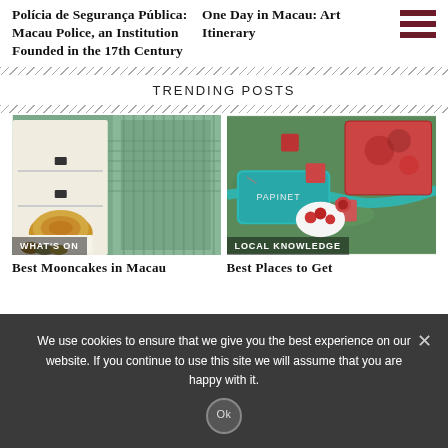Polícia de Segurança Pública: Macau Police, an Institution Founded in the 17th Century
One Day in Macau: Art Itinerary
TRENDING POSTS
[Figure (photo): Photo of mooncakes in a white box with decorative wooden screen background]
WHAT'S ON
Best Mooncakes in Macau
[Figure (photo): Photo of Papinet gift boxes and sweets with teal ribbon on grass]
LOCAL KNOWLEDGE
Best Places to Get
We use cookies to ensure that we give you the best experience on our website. If you continue to use this site we will assume that you are happy with it.